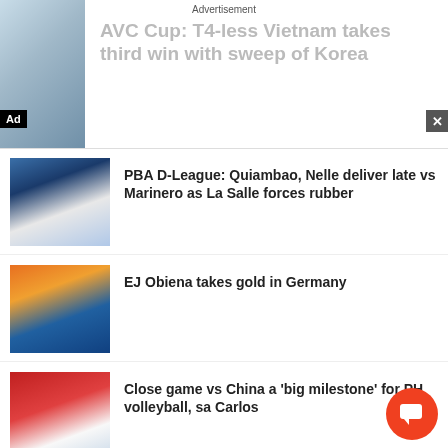Advertisement
AVC Cup: T4-less Vietnam takes third win with sweep of Korea
[Figure (photo): Sports/volleyball action photo thumbnail]
PBA D-League: Quiambao, Nelle deliver late vs Marinero as La Salle forces rubber
[Figure (photo): Basketball player in green jersey shooting]
EJ Obiena takes gold in Germany
[Figure (photo): Track and field athlete pole vaulting]
Close game vs China a 'big milestone' for PH volleyball, sa Carlos
[Figure (photo): Women's volleyball team in red jerseys]